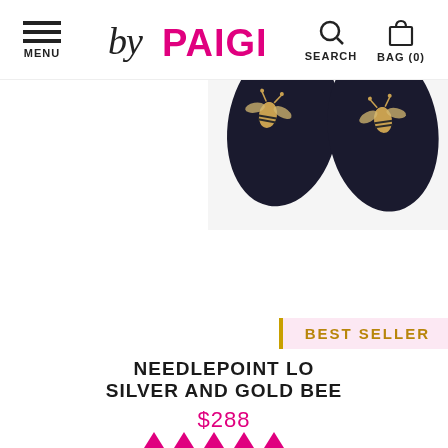MENU | by PAIGE | SEARCH | BAG (0)
[Figure (photo): Top-down view of black needlepoint loafers with gold and silver bee embroidery pattern on white background]
BEST SELLER
NEEDLEPOINT LOAFER SILVER AND GOLD BEE
$288